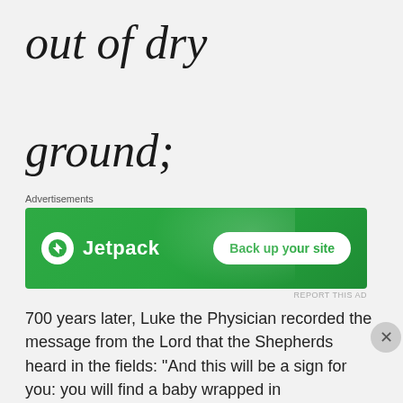out of dry ground;
Advertisements
[Figure (other): Jetpack advertisement banner: green background with Jetpack logo and 'Back up your site' button]
REPORT THIS AD
700 years later, Luke the Physician recorded the message from the Lord that the Shepherds heard in the fields: “And this will be a sign for you: you will find a baby wrapped in
Advertisements
[Figure (other): DuckDuckGo advertisement banner: orange section with 'Search, browse, and email with more privacy. All in One Free App' and black section with DuckDuckGo duck logo]